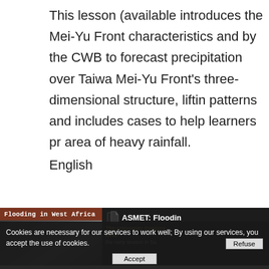This lesson (available introduces the Mei-Yu Front characteristics and by the CWB to forecast precipitation over Taiwan Mei-Yu Front's three-dimensional structure, lifting patterns and includes cases to help learners pra area of heavy rainfall.
English
[Figure (screenshot): Flooding in West Africa course card with brown header and dark image below]
[Figure (screenshot): ASMET: Flooding course entry showing The University Corporation 2012 and text about the rainy season in Sa...]
Cookies are necessary for our services to work well; By using our services, you accept the use of cookies.